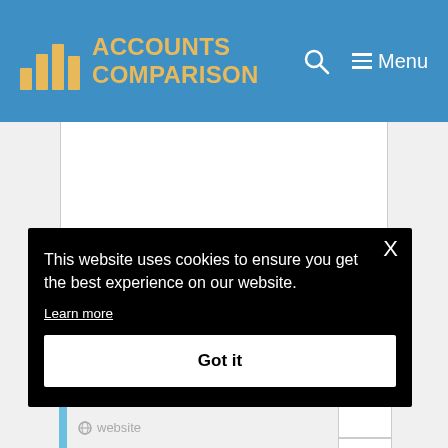ACCOUNTS COMPARISON
[Figure (screenshot): Website content area with white background, partially visible below the header]
This website uses cookies to ensure you get the best experience on our website.
Learn more
Got it
website